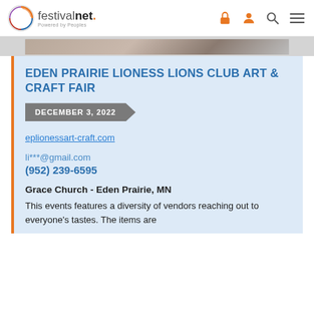festivalnet. Powered by Peoples
[Figure (photo): Partial event photo strip at top of listing card]
EDEN PRAIRIE LIONESS LIONS CLUB ART & CRAFT FAIR
DECEMBER 3, 2022
eplionessart-craft.com
li***@gmail.com
(952) 239-6595
Grace Church - Eden Prairie, MN
This events features a diversity of vendors reaching out to everyone's tastes. The items are